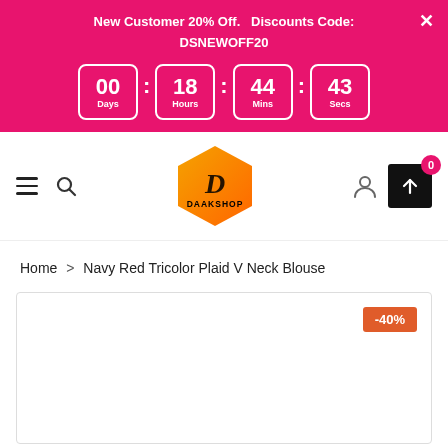New Customer 20% Off.  Discounts Code: DSNEWOFF20
[Figure (infographic): Countdown timer showing 00 Days : 18 Hours : 44 Mins : 43 Secs on pink/magenta banner]
[Figure (logo): Daakshop hexagonal logo with D initial and DAAKSHOP text, orange-yellow gradient]
Home > Navy Red Tricolor Plaid V Neck Blouse
[Figure (photo): Product image area with -40% discount badge, white background]